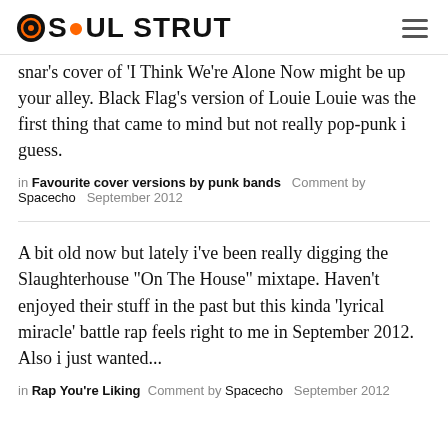SOUL STRUT
snar's cover of 'I Think We're Alone Now might be up your alley. Black Flag's version of Louie Louie was the first thing that came to mind but not really pop-punk i guess.
in Favourite cover versions by punk bands   Comment by Spacecho   September 2012
A bit old now but lately i've been really digging the Slaughterhouse "On The House" mixtape. Haven't enjoyed their stuff in the past but this kinda 'lyrical miracle' battle rap feels right to me in September 2012. Also i just wanted...
in Rap You're Liking   Comment by Spacecho   September 2012